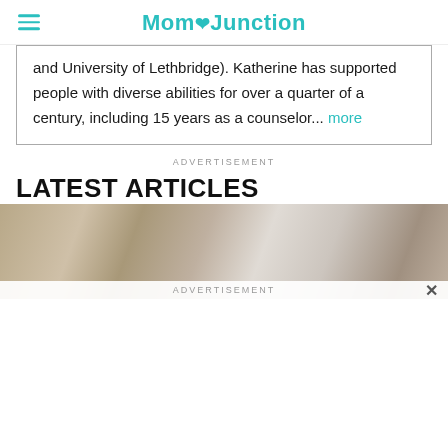Mom Junction
and University of Lethbridge). Katherine has supported people with diverse abilities for over a quarter of a century, including 15 years as a counselor... more
ADVERTISEMENT
LATEST ARTICLES
[Figure (photo): Photo of two people with hair visible, cropped at top of frame]
ADVERTISEMENT